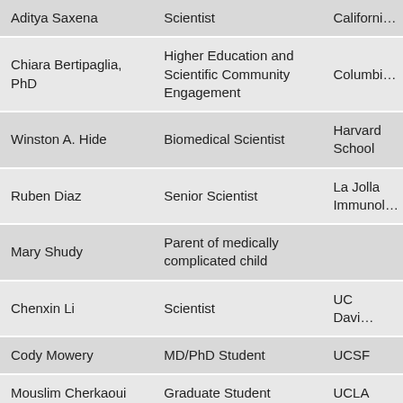| Name | Role | Affiliation |
| --- | --- | --- |
| Aditya Saxena | Scientist | Californi… |
| Chiara Bertipaglia, PhD | Higher Education and Scientific Community Engagement | Columbi… |
| Winston A. Hide | Biomedical Scientist | Harvard School |
| Ruben Diaz | Senior Scientist | La Jolla Immunol… |
| Mary Shudy | Parent of medically complicated child |  |
| Chenxin Li | Scientist | UC Davi… |
| Cody Mowery | MD/PhD Student | UCSF |
| Mouslim Cherkaoui | Graduate Student | UCLA |
| Tom Ryan | Publisher | STM |
| Casey J Troxler | Engineer | ERAU |